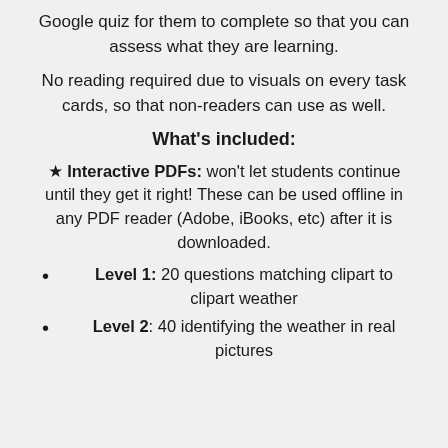Google quiz for them to complete so that you can assess what they are learning.
No reading required due to visuals on every task cards, so that non-readers can use as well.
What's included:
Interactive PDFs: won't let students continue until they get it right! These can be used offline in any PDF reader (Adobe, iBooks, etc) after it is downloaded.
Level 1: 20 questions matching clipart to clipart weather
Level 2: 40 identifying the weather in real pictures